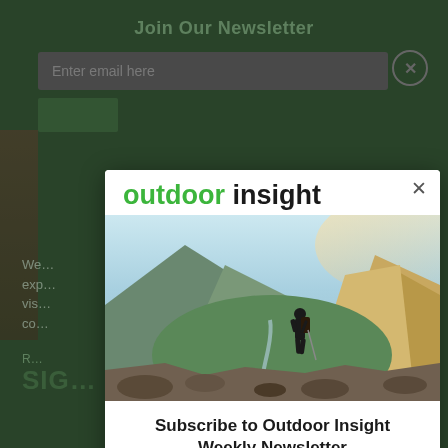Join Our Newsletter
[Figure (screenshot): Newsletter signup popup/modal overlay on a dark green website background. The modal shows the 'outdoor insight' logo, a mountain hiking photo, and a newsletter subscription call-to-action.]
Subscribe to Outdoor Insight Weekly Newsletter
Outdoor is the destination for news and opinion and the place to come to stay up too date on the outdoor market in the UK, Europe, USA and across the world.